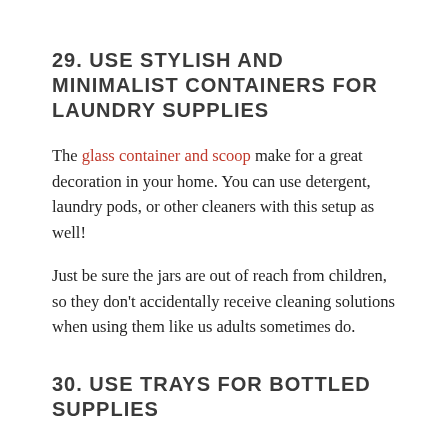29. USE STYLISH AND MINIMALIST CONTAINERS FOR LAUNDRY SUPPLIES
The glass container and scoop make for a great decoration in your home. You can use detergent, laundry pods, or other cleaners with this setup as well!
Just be sure the jars are out of reach from children, so they don't accidentally receive cleaning solutions when using them like us adults sometimes do.
30. USE TRAYS FOR BOTTLED SUPPLIES
This is a great way to keep your detergent and other supplies organized. You can use woven and metal-framed trays for bottled supplies or even clear shoe organizers to prevent